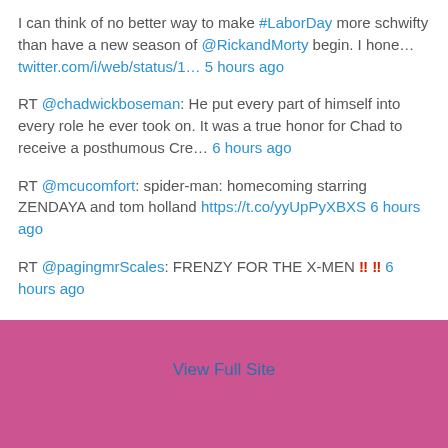I can think of no better way to make #LaborDay more schwifty than have a new season of @RickandMorty begin. I hone… twitter.com/i/web/status/1… 5 hours ago
RT @chadwickboseman: He put every part of himself into every role he ever took on. It was a true honor for Chad to receive a posthumous Cre… 6 hours ago
RT @mcucomfort: spider-man: homecoming starring ZENDAYA and tom holland https://t.co/yyUpPyXBXS 6 hours ago
RT @pagingmrScales: FRENZY FOR THE X-MEN ‼ ‼ 6 hours ago
Follow @MarvelMaster616
View Full Site